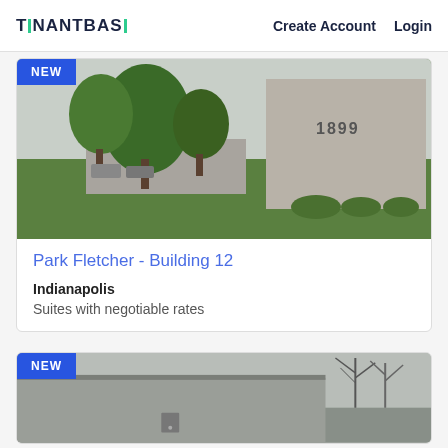TENANTBASE  Create Account  Login
[Figure (photo): Exterior photo of Park Fletcher Building 12 in Indianapolis — a large concrete industrial building with green lawn and trees in foreground, 'NEW' badge overlay in blue top-left corner]
Park Fletcher - Building 12
Indianapolis
Suites with negotiable rates
[Figure (photo): Partial exterior photo of another commercial building with bare trees in winter/spring, 'NEW' badge overlay in blue top-left corner]